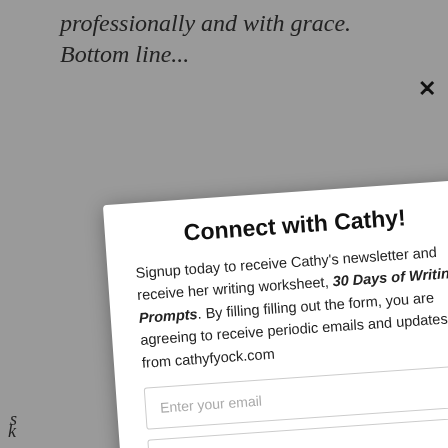professionally and with grace. Bottom line...
Connect with Cathy!
Signup today to receive Cathy's newsletter and receive her writing worksheet, 30 Days of Writing Prompts. By filling filling out the form, you are agreeing to receive periodic emails and updates from cathyfyock.com
Enter your email
Enter first name
Enter last name
Subscribe